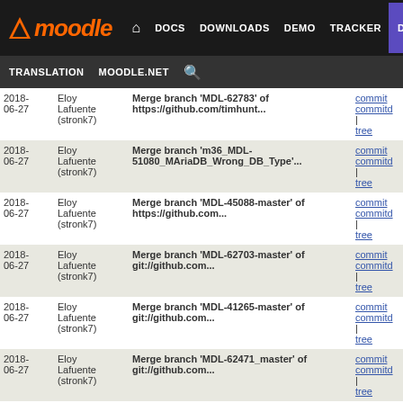[Figure (screenshot): Moodle website header with logo, navigation links (DOCS, DOWNLOADS, DEMO, TRACKER, DEV highlighted in purple), and secondary nav (TRANSLATION, MOODLE.NET, search icon)]
| Date | Author | Commit Message | Links |
| --- | --- | --- | --- |
| 2018-06-27 | Eloy Lafuente (stronk7) | Merge branch 'MDL-62783' of https://github.com/timhunt... | commit | commitd | tree |
| 2018-06-27 | Eloy Lafuente (stronk7) | Merge branch 'm36_MDL-51080_MAriaDB_Wrong_DB_Type'... | commit | commitd | tree |
| 2018-06-27 | Eloy Lafuente (stronk7) | Merge branch 'MDL-45088-master' of https://github.com... | commit | commitd | tree |
| 2018-06-27 | Eloy Lafuente (stronk7) | Merge branch 'MDL-62703-master' of git://github.com... | commit | commitd | tree |
| 2018-06-27 | Eloy Lafuente (stronk7) | Merge branch 'MDL-41265-master' of git://github.com... | commit | commitd | tree |
| 2018-06-27 | Eloy Lafuente (stronk7) | Merge branch 'MDL-62471_master' of git://github.com... | commit | commitd | tree |
| 2018-06-26 | Eloy Lafuente (stronk7) | Merge branch 'MDL-62735-master-refactor' of https:... | commit | commitd | tree |
| 2018-06-26 | Juan Pablo de Castro | MDL-14274 lib/evalmath: support of conditional math... | commit | commitd | tree |